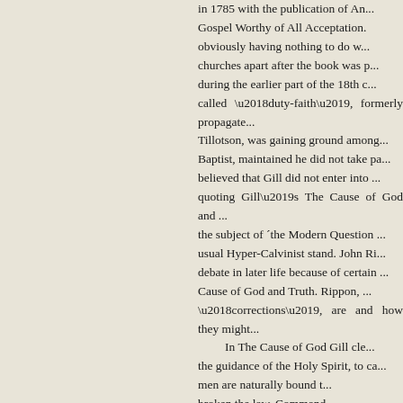in 1785 with the publication of An... Gospel Worthy of All Acceptation. obviously having nothing to do w... churches apart after the book was p... during the earlier part of the 18th c... called ‘duty-faith’, formerly propagate... Tillotson, was gaining ground among... Baptist, maintained he did not take pa... believed that Gill did not enter into ... quoting Gill’s The Cause of God and ... the subject of ˜the Modern Question ... usual Hyper-Calvinist stand. John Ri... debate in later life because of certain ... Cause of God and Truth. Rippon, ... ‘corrections’, are and how they might...
In The Cause of God Gill cle... the guidance of the Holy Spirit, to ca... men are naturally bound t... broken the law. Command... of the law which they have broken...